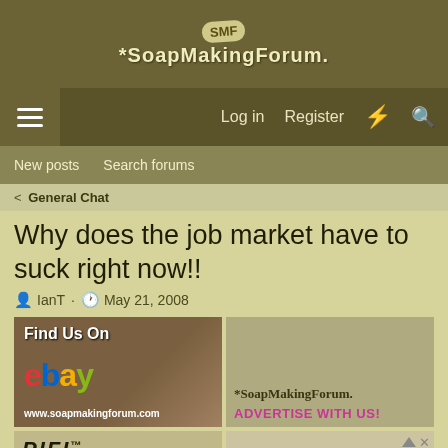SoapMakingForum
Log in  Register
New posts  Search forums
General Chat
Why does the job market have to suck right now!!
IanT · May 21, 2008
[Figure (other): Find Us On eBay advertisement banner with www.soapmakingforum.com]
[Figure (other): SoapMakingForum ADVERTISE WITH US! banner]
[Figure (other): PIFI MELT & advertisement partial banner]
[Figure (other): Partial circular image bottom right advertisement]